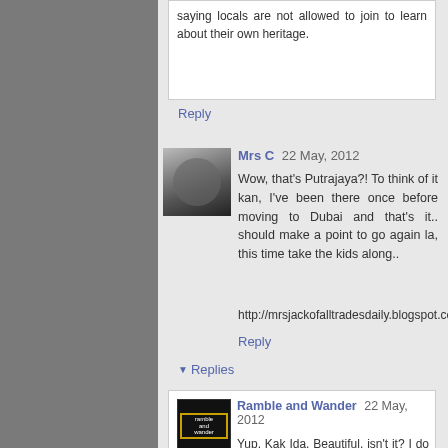saying locals are not allowed to join to learn about their own heritage.
Reply
Mrs C  22 May, 2012
Wow, that's Putrajaya?! To think of it kan, I've been there once before moving to Dubai and that's it.. should make a point to go again la, this time take the kids along..
http://mrsjackofalltradesdaily.blogspot.com/
Reply
Replies
Ramble and Wander  22 May, 2012
Yup, Kak Ida. Beautiful, isn't it? I do think that it's a good place for a day out, especially for families. Putrajaya offers a variety of options and activities to its visitors, e.g. parks, botanical gardens, maritime centre, lake cruise, beautiful architecture, etc. So much so 1 day probably would not be enough actually ;-)